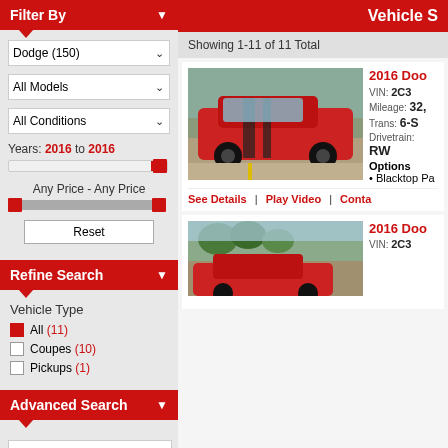Filter By
Dodge (150)
All Models
All Conditions
Years: 2016 to 2016
Any Price - Any Price
Reset
Refine Search
Vehicle Type
All (11)
Coupes (10)
Pickups (1)
Advanced Search
Search
Vehicle S
Showing 1-11 of 11 Total
[Figure (photo): Red 2016 Dodge Challenger muscle car in parking lot]
2016 Do
VIN: 2C3
Mileage: 32,
Trans: 6-S
Drivetrain: RW
Options
• Blacktop Pa
See Details | Play Video | Conta
[Figure (photo): 2016 Dodge vehicle partially visible at bottom]
2016 Do